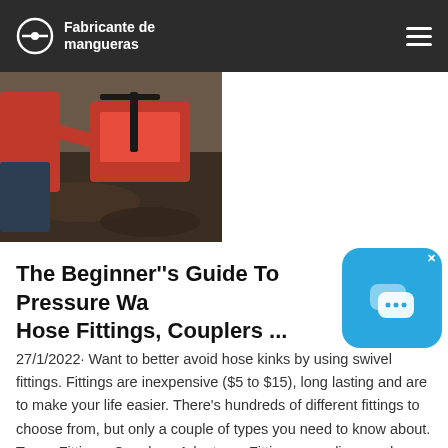Fabricante de mangueras
[Figure (photo): Person working with red machinery/equipment in muddy outdoor ground]
The Beginner"s Guide To Pressure Wa Hose Fittings, Couplers ...
27/1/2022· Want to better avoid hose kinks by using swivel fittings. Fittings are inexpensive ($5 to $15), long lasting and are to make your life easier. There's hundreds of different fittings to choose from, but only a couple of types you need to know about. Types Fittings, Couplers, Adapters . Fittings, couplings and adapters can be considered the